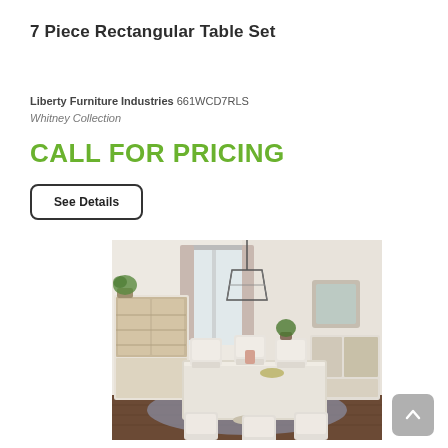7 Piece Rectangular Table Set
Liberty Furniture Industries 661WCD7RLS
Whitney Collection
CALL FOR PRICING
See Details
[Figure (photo): White farmhouse-style rectangular dining table set with 6 chairs in a bright dining room. A pendant lantern light hangs above. In the background there is a china cabinet and sideboard in matching white finish.]